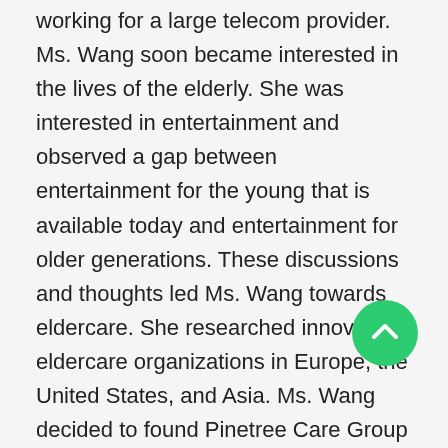working for a large telecom provider. Ms. Wang soon became interested in the lives of the elderly. She was interested in entertainment and observed a gap between entertainment for the young that is available today and entertainment for older generations. These discussions and thoughts led Ms. Wang towards eldercare. She researched innovative eldercare organizations in Europe, the United States, and Asia. Ms. Wang decided to found Pinetree Care Group in 2003.
There were no other home healthcare providers in China during this time. Ms. Wang is a pioneer in this field in China. She has a remarkably well developed philosophy that focuses on the needs of each